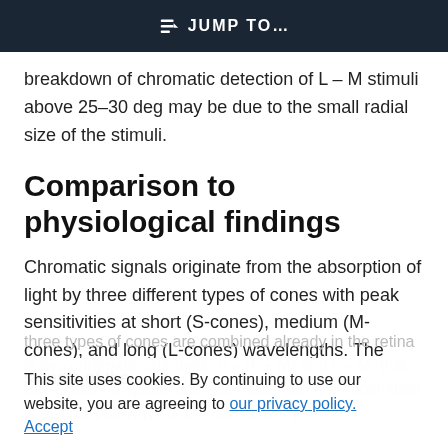JUMP TO...
breakdown of chromatic detection of L – M stimuli above 25–30 deg may be due to the small radial size of the stimuli.
Comparison to physiological findings
Chromatic signals originate from the absorption of light by three different types of cones with peak sensitivities at short (S-cones), medium (M-cones), and long (L-cones) wavelengths. The signals of the
three types of cones are combined already in the retina in two chromatic channels: S – (L + M) and L – M, that have different spatial characteristics and are transmitted in distinct pathways to the cortex. S – (L –
This site uses cookies. By continuing to use our website, you are agreeing to our privacy policy. Accept